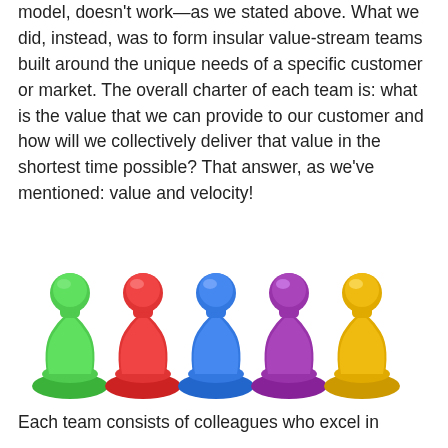model, doesn't work—as we stated above. What we did, instead, was to form insular value-stream teams built around the unique needs of a specific customer or market. The overall charter of each team is: what is the value that we can provide to our customer and how will we collectively deliver that value in the shortest time possible? That answer, as we've mentioned: value and velocity!
[Figure (photo): Five colorful board game pawn pieces in green, red, blue, purple, and yellow arranged in a row on a white background.]
Each team consists of colleagues who excel in